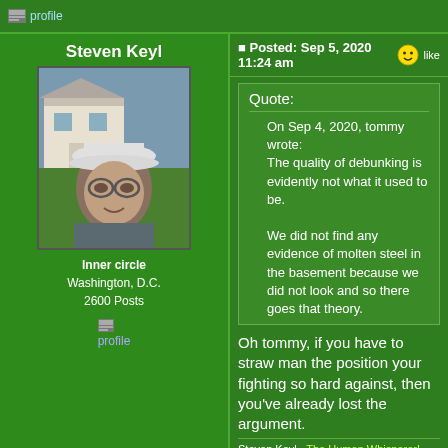profile
Steven Keyl
[Figure (photo): Profile photo of Steven Keyl, a man wearing a white cap and glasses, outdoors in front of a white house]
Inner circle
Washington, D.C.
2600 Posts
profile
Posted: Sep 5, 2020 11:24 am
Quote:
On Sep 4, 2020, tommy wrote: The quality of debunking is evidently not what it used to be.

We did not find any evidence of molten steel in the basement because we did not look and so there goes that theory.
Oh tommy, if you have to straw man the position your fighting so hard against, then you've already lost the argument.
Steven Keyl - The Human Whisperer!
Come visit Magic Book Report.com!
"If you ever find yourself on the side of the majority, it is time to pause, and reflect." --Mark Twain